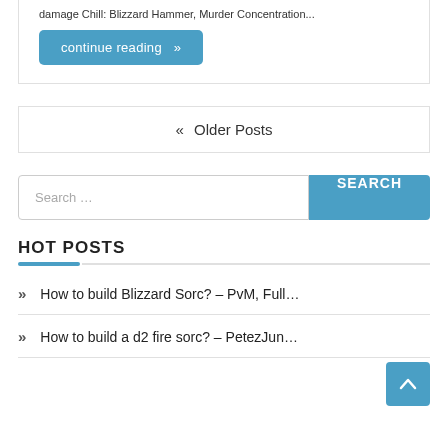damage Chill: Blizzard Hammer, Murder Concentration...
continue reading »
« Older Posts
Search …
HOT POSTS
How to build Blizzard Sorc? – PvM, Full…
How to build a d2 fire sorc? – PetezJun…